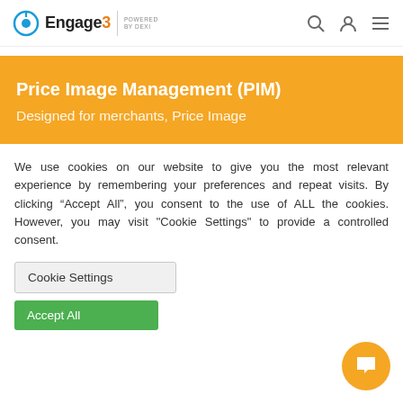Engage3 | POWERED BY DEXI
Price Image Management (PIM)
Designed for merchants, Price Image
We use cookies on our website to give you the most relevant experience by remembering your preferences and repeat visits. By clicking “Accept All”, you consent to the use of ALL the cookies. However, you may visit "Cookie Settings" to provide a controlled consent.
Cookie Settings
Accept All